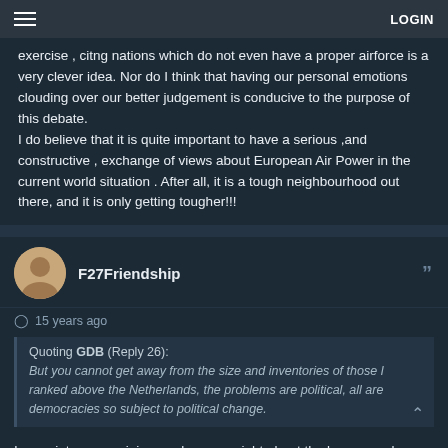LOGIN
exercise , citng nations which do not even have a proper airforce is a very clever idea. Nor do I think that having our personal emotions clouding over our better judgement is conducive to the purpose of this debate.
I do believe that it is quite important to have a serious ,and constructive , exchange of views about European Air Power in the current world situation . After all, it is a tough neighbourhood out there, and it is only getting tougher!!!
F27Friendship
15 years ago
Quoting GDB (Reply 26):
But you cannot get away from the size and inventories of those I ranked above the Netherlands, the problems are political, all are democracies so subject to political change.
I apreciate your opinion, and you are right about the larger numbers the other air forces have, nevertheless, they score extremely lousy in deployability. When you look at the EU, we have 1,5 million personell in